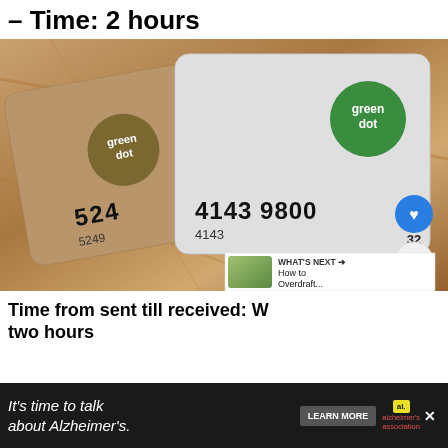– Time: 2 hours
[Figure (photo): Two Green Dot prepaid debit cards, one tan/brown and one white/gray, showing partial card numbers 5249 and 4143 9800, with green dot logos.]
Time from sent till received: Within two hours
It's time to talk about Alzheimer's.